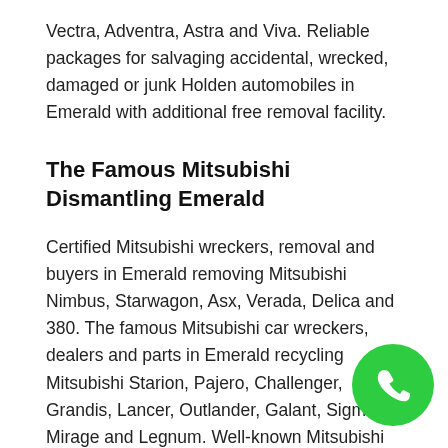Vectra, Adventra, Astra and Viva. Reliable packages for salvaging accidental, wrecked, damaged or junk Holden automobiles in Emerald with additional free removal facility.
The Famous Mitsubishi Dismantling Emerald
Certified Mitsubishi wreckers, removal and buyers in Emerald removing Mitsubishi Nimbus, Starwagon, Asx, Verada, Delica and 380. The famous Mitsubishi car wreckers, dealers and parts in Emerald recycling Mitsubishi Starion, Pajero, Challenger, Grandis, Lancer, Outlander, Galant, Sigma, Mirage and Legnum. Well-known Mitsubishi auto wreckers, recyclers and dismantlers in Emerald purchasing Mitsubishi Tri… Legnum, Colt, Magna, Outlander, Express, Gala… Lancer. Proper money for disposing written-off, burned, junk or unwanted Mitsubishi automobiles in Emerald